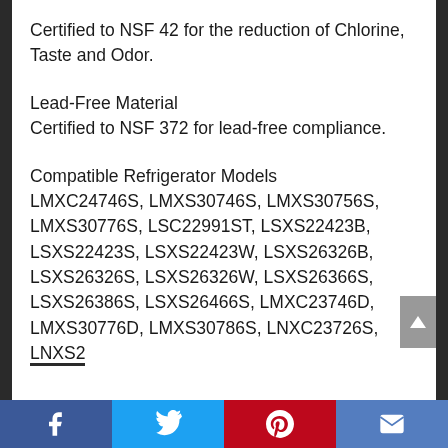Certified to NSF 42 for the reduction of Chlorine, Taste and Odor.
Lead-Free Material
Certified to NSF 372 for lead-free compliance.
Compatible Refrigerator Models
LMXC24746S, LMXS30746S, LMXS30756S, LMXS30776S, LSC22991ST, LSXS22423B, LSXS22423S, LSXS22423W, LSXS26326B, LSXS26326S, LSXS26326W, LSXS26366S, LSXS26386S, LSXS26466S, LMXC23746D, LMXS30776D, LMXS30786S, LNXC23726S, LNXS20766D, LNXS20966D, LNXS20966D
Social share bar: Facebook, Twitter, Pinterest, Email